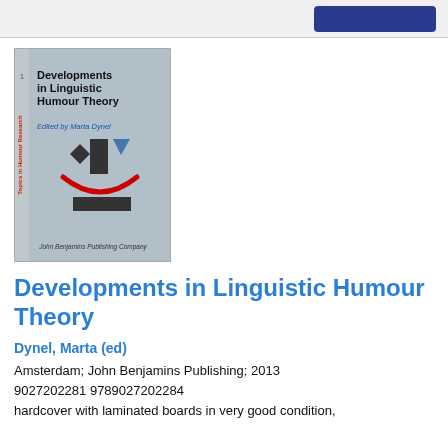[Figure (screenshot): Blue button UI element in top bar]
[Figure (photo): Book cover of 'Developments in Linguistic Humour Theory', edited by Marta Dynel, published by John Benjamins Publishing Company. Light blue cover with geometric smiley face design.]
Developments in Linguistic Humour Theory
Dynel, Marta (ed)
Amsterdam; John Benjamins Publishing; 2013
9027202281 9789027202284
hardcover with laminated boards in very good condition,